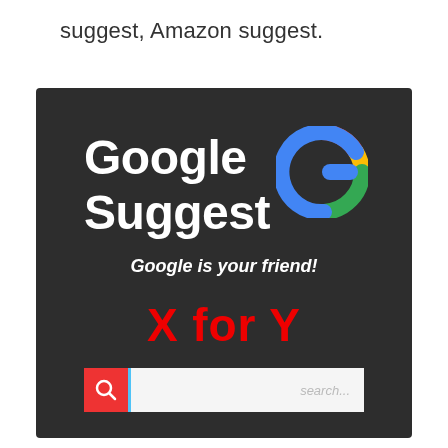suggest, Amazon suggest.
[Figure (screenshot): Google Suggest promotional image on dark background with Google logo, tagline 'Google is your friend!', large red 'X for Y' text, and a search bar with magnifying glass icon]